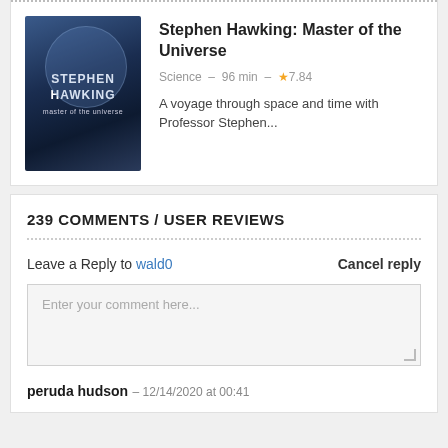[Figure (photo): Book cover for 'Stephen Hawking: Master of the Universe' showing a dark blue cover with white text and a circular design element]
Stephen Hawking: Master of the Universe
Science – 96 min – ★7.84
A voyage through space and time with Professor Stephen...
239 COMMENTS / USER REVIEWS
Leave a Reply to wald0   Cancel reply
Enter your comment here...
peruda hudson – 12/14/2020 at 00:41